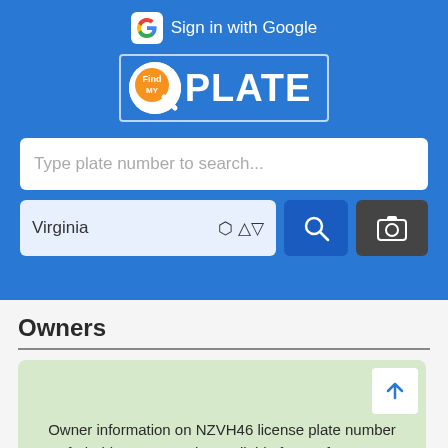[Figure (screenshot): FindPlate app screenshot showing blue header with Google sign-in, FindPlate logo, plate number search bar, state selector (Virginia), search and camera buttons]
Owners
Owner information on NZVH46 license plate number of Florida state may be available from Info Tracer premium report, click the button below to be redirected to their website.